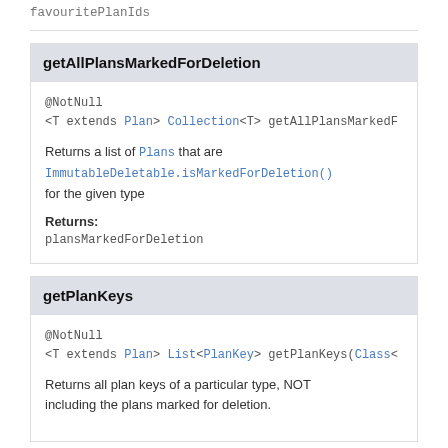favouritePlanIds
getAllPlansMarkedForDeletion
@NotNull
<T extends Plan> Collection<T> getAllPlansMarkedForDeletion
Returns a list of Plans that are ImmutableDeletable.isMarkedForDeletion() for the given type
Returns:
plansMarkedForDeletion
getPlanKeys
@NotNull
<T extends Plan> List<PlanKey> getPlanKeys(Class<
Returns all plan keys of a particular type, NOT including the plans marked for deletion.